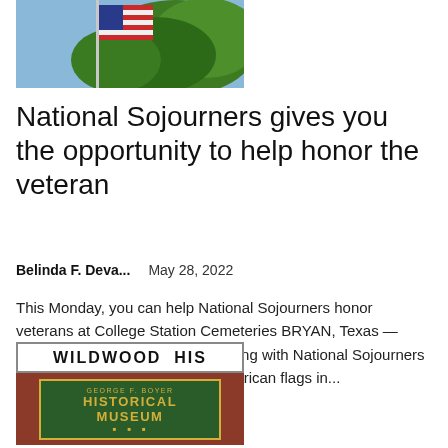[Figure (photo): American flag flying in front of trees against blue sky]
National Sojourners gives you the opportunity to help honor the veteran
Belinda F. Deva...    May 28, 2022
This Monday, you can help National Sojourners honor veterans at College Station Cemeteries BRYAN, Texas — Several organizations are partnering with National Sojourners and inviting you to help place American flags in...
[Figure (photo): Wildwood Historical Museum sign on brick building — George F. Boyer Historical Museum sign in green and gold]